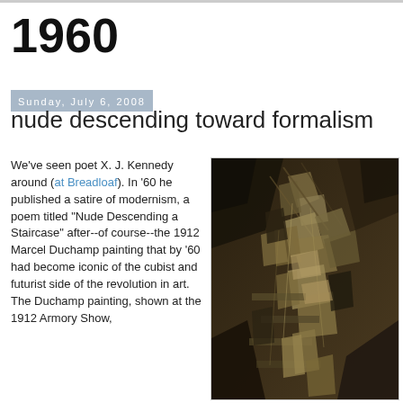1960
Sunday, July 6, 2008
nude descending toward formalism
We've seen poet X. J. Kennedy around (at Breadloaf). In '60 he published a satire of modernism, a poem titled "Nude Descending a Staircase" after--of course--the 1912 Marcel Duchamp painting that by '60 had become iconic of the cubist and futurist side of the revolution in art. The Duchamp painting, shown at the 1912 Armory Show,
[Figure (photo): Marcel Duchamp's 'Nude Descending a Staircase' painting, a cubist/futurist work in brown and grey tones showing fragmented geometric forms suggesting a figure in motion descending stairs.]